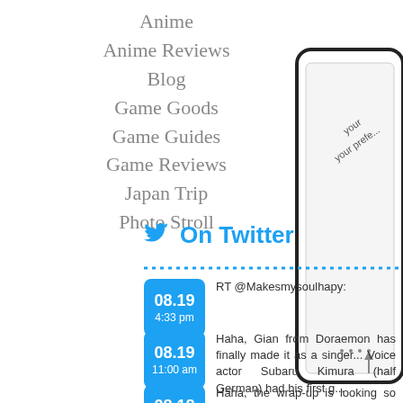Anime
Anime Reviews
Blog
Game Goods
Game Guides
Game Reviews
Japan Trip
Photo Stroll
On Twitter
RT @Makesmysoulhapy:
Haha, Gian from Doraemon has finally made it as a singer... Voice actor Subaru Kimura (half German) had his first g...
Haha, the wrap-up is looking so similar to X... Never played through